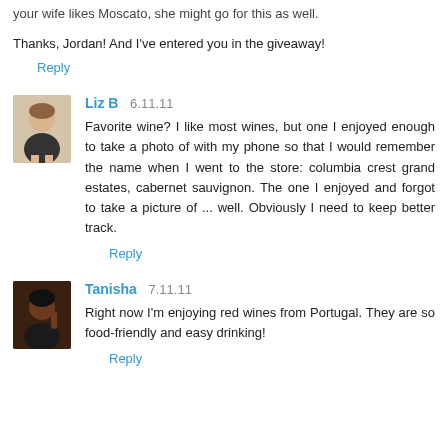your wife likes Mescato, she might go for this as well.
Thanks, Jordan! And I've entered you in the giveaway!
Reply
Liz B  6.11.11
Favorite wine? I like most wines, but one I enjoyed enough to take a photo of with my phone so that I would remember the name when I went to the store: columbia crest grand estates, cabernet sauvignon. The one I enjoyed and forgot to take a picture of ... well. Obviously I need to keep better track.
Reply
Tanisha  7.11.11
Right now I'm enjoying red wines from Portugal. They are so food-friendly and easy drinking!
Reply